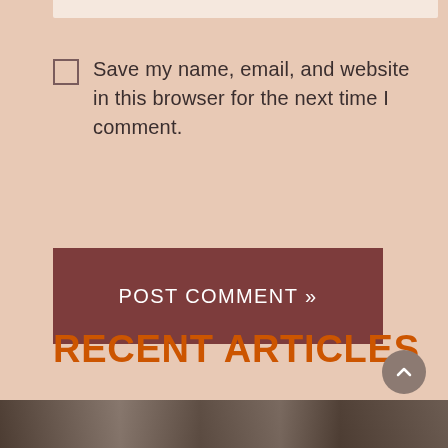Save my name, email, and website in this browser for the next time I comment.
POST COMMENT »
RECENT ARTICLES
[Figure (photo): Partial photo strip visible at bottom of page, dark toned image]